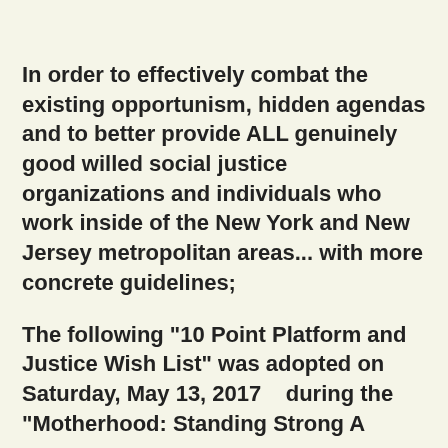In order to effectively combat the existing opportunism, hidden agendas and to better provide ALL genuinely good willed social justice organizations and individuals who work inside of the New York and New Jersey metropolitan areas... with more concrete guidelines;
The following "10 Point Platform and Justice Wish List" was adopted on Saturday, May 13, 2017   during the "Motherhood: Standing Strong A...